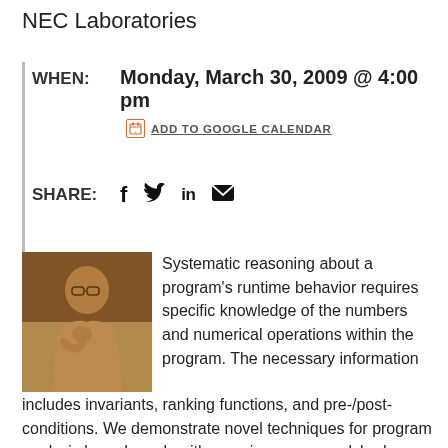NEC Laboratories
WHEN:   Monday, March 30, 2009 @ 4:00 pm
ADD TO GOOGLE CALENDAR
SHARE:
[Figure (photo): Sepia-toned photo of a man sitting at a restaurant, resting his chin on his hand, wearing glasses]
Systematic reasoning about a program's runtime behavior requires specific knowledge of the numbers and numerical operations within the program. The necessary information includes invariants, ranking functions, and pre-/post-conditions. We demonstrate novel techniques for program analysis based on algorithms using convex polyhedra,